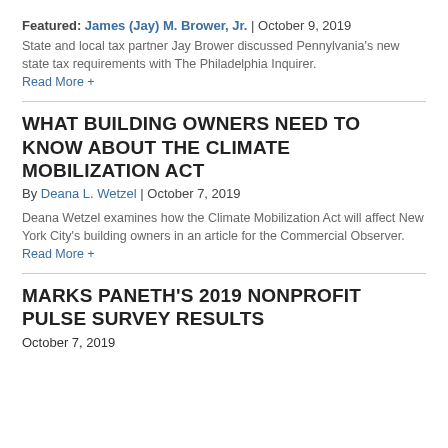Featured: James (Jay) M. Brower, Jr. | October 9, 2019
State and local tax partner Jay Brower discussed Pennylvania's new state tax requirements with The Philadelphia Inquirer. Read More +
WHAT BUILDING OWNERS NEED TO KNOW ABOUT THE CLIMATE MOBILIZATION ACT
By Deana L. Wetzel | October 7, 2019
Deana Wetzel examines how the Climate Mobilization Act will affect New York City's building owners in an article for the Commercial Observer. Read More +
MARKS PANETH'S 2019 NONPROFIT PULSE SURVEY RESULTS
October 7, 2019